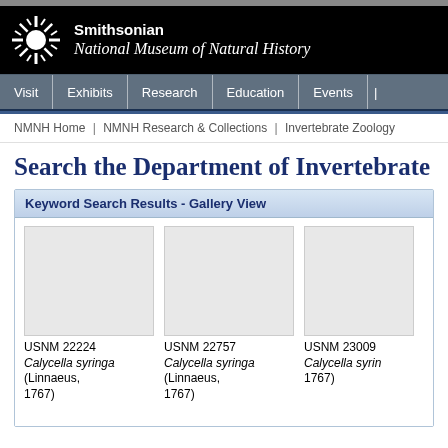Smithsonian National Museum of Natural History
Visit | Exhibits | Research | Education | Events
NMNH Home | NMNH Research & Collections | Invertebrate Zoology
Search the Department of Invertebrate
Keyword Search Results - Gallery View
USNM 22224
Calycella syringa (Linnaeus, 1767)
USNM 22757
Calycella syringa (Linnaeus, 1767)
USNM 23009
Calycella syrin...
1767)